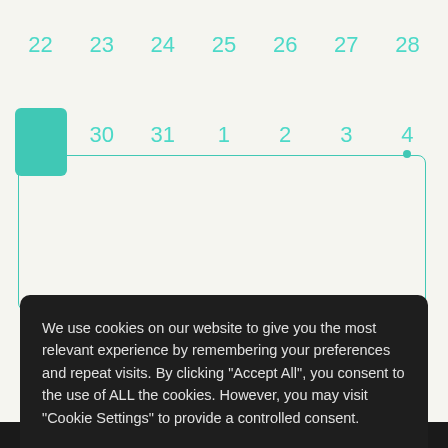[Figure (screenshot): Calendar view showing two rows of dates. Top row: 22, 23, 24, 25, 26, 27, 28 in teal. Second row: selected cell (teal highlight), 30, 31, 1, 2, 3, 4 with a teal dot under 4.]
We use cookies on our website to give you the most relevant experience by remembering your preferences and repeat visits. By clicking "Accept All", you consent to the use of ALL the cookies. However, you may visit "Cookie Settings" to provide a controlled consent.
Cookie Settings
Accept All